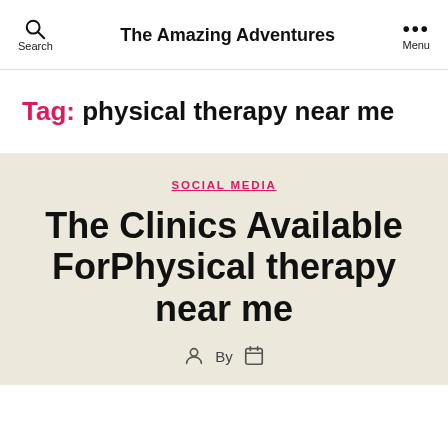Search | The Amazing Adventures | Menu
Tag: physical therapy near me
SOCIAL MEDIA
The Clinics Available ForPhysical therapy near me
By